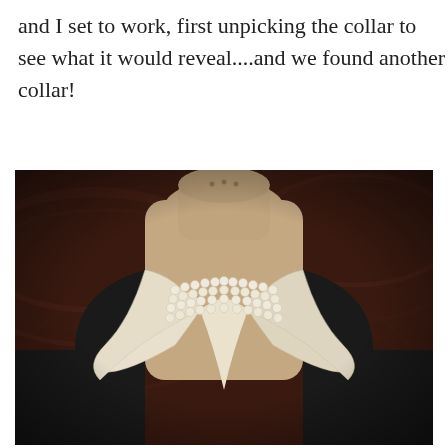and I set to work, first unpicking the collar to see what it would reveal....and we found another collar!
[Figure (photo): A dressmaker's mannequin bust wearing a black garment with an open white fabric collar/lapel draped around the neckline. Multiple strands of pearl necklaces encircle the neck area. The background is dark reddish-brown with a wood grain pattern.]